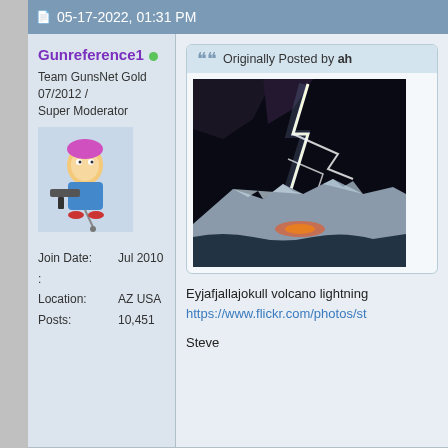05-17-2022, 01:31 PM
Gunreference1 [online]
Team GunsNet Gold 07/2012 / Super Moderator
[Figure (illustration): Avatar image of cartoon character holding a gun]
Join Date: Jul 2010
Location: AZ USA
Posts: 10,451
Originally Posted by ah
[Figure (photo): Eyjafjallajokull volcano lightning photo — dramatic dark sky with bright lightning bolt over a snow-covered volcanic mountain]
Eyjafjallajokull volcano lightning
https://www.flickr.com/photos/st
Steve